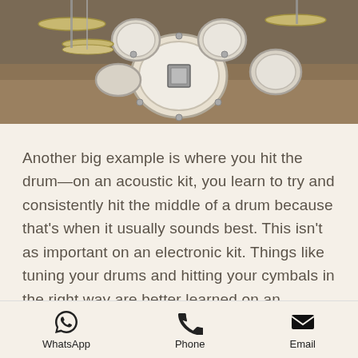[Figure (photo): Overhead view of a white/silver acoustic drum kit with cymbals, hardware, and drumheads visible from above, outdoors setting]
Another big example is where you hit the drum—on an acoustic kit, you learn to try and consistently hit the middle of a drum because that's when it usually sounds best. This isn't as important on an electronic kit. Things like tuning your drums and hitting your cymbals in the right way are better learned on an acoustic kit as well. Most famous drummers still stick to acoustic kits because they've learned how to get the most out of them, and how to choose
WhatsApp  Phone  Email